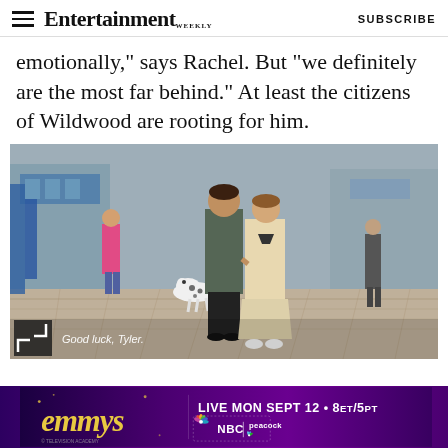Entertainment Weekly — SUBSCRIBE
emotionally," says Rachel. But "we definitely are the most far behind." At least the citizens of Wildwood are rooting for him.
[Figure (photo): A man and woman walking together on a boardwalk. The man is wearing dark clothing and the woman is wearing a beige trench coat. Caption reads: Good luck, Tyler.]
[Figure (infographic): Emmy Awards advertisement banner. 'emmys' in yellow italic text on purple background. 'LIVE MON SEPT 12 • 8ET/5PT' with NBC and Peacock logos.]